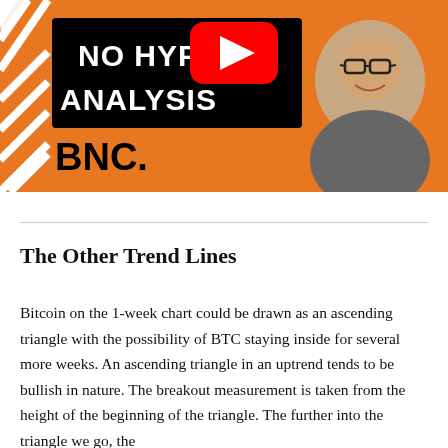[Figure (screenshot): YouTube thumbnail for BNC No Hype Analysis channel. Orange background with diagonal white stripes on the left, black banner with white bold text 'NO HYPE ANALYSIS', red YouTube play button icon in the center, 'BNC.' text in black bold at the bottom left, and a smiling man with glasses wearing a grey t-shirt on the right side.]
The Other Trend Lines
Bitcoin on the 1-week chart could be drawn as an ascending triangle with the possibility of BTC staying inside for several more weeks. An ascending triangle in an uptrend tends to be bullish in nature. The breakout measurement is taken from the height of the beginning of the triangle. The further into the triangle we go, the